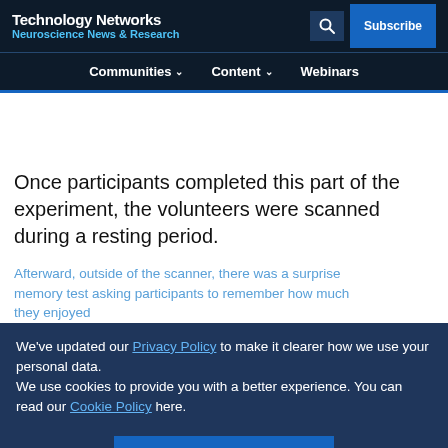Technology Networks
Neuroscience News & Research
Communities  Content  Webinars
Once participants completed this part of the experiment, the volunteers were scanned during a resting period.
Afterward, outside of the scanner, there was a surprise [memory test asking participants to remember how much they enjoyed each activity].
We've updated our Privacy Policy to make it clearer how we use your personal data.
We use cookies to provide you with a better experience. You can read our Cookie Policy here.
I Understand
Advertisement
[Figure (other): Somalogic advertisement banner: Pioneer with 7,000 proteins]